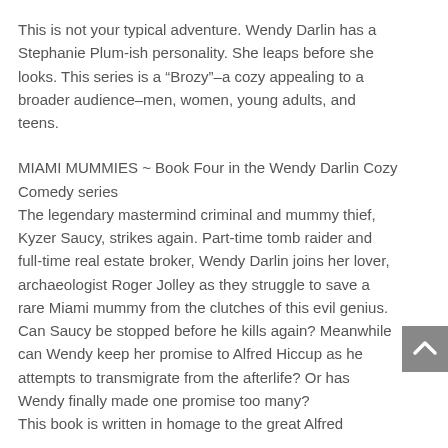This is not your typical adventure. Wendy Darlin has a Stephanie Plum-ish personality. She leaps before she looks. This series is a “Brozy”–a cozy appealing to a broader audience–men, women, young adults, and teens.
MIAMI MUMMIES ~ Book Four in the Wendy Darlin Cozy Comedy series
The legendary mastermind criminal and mummy thief, Kyzer Saucy, strikes again. Part-time tomb raider and full-time real estate broker, Wendy Darlin joins her lover, archaeologist Roger Jolley as they struggle to save a rare Miami mummy from the clutches of this evil genius. Can Saucy be stopped before he kills again? Meanwhile can Wendy keep her promise to Alfred Hiccup as he attempts to transmigrate from the afterlife? Or has Wendy finally made one promise too many?
This book is written in homage to the great Alfred